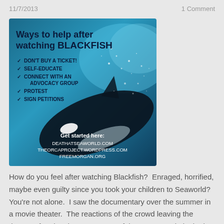11/7/2013    1 Comment
[Figure (illustration): Infographic with a dark blue/teal background featuring an orca whale dissolving into water bubbles. Text reads: 'Ways to help after watching BLACKFISH' with bullet points: DON'T BUY A TICKET!, SELF-EDUCATE, CONNECT WITH AN ADVOCACY GROUP, PROTEST, SIGN PETITIONS. Bottom text: 'Get started here: DEATHATSEAWORLD.COM THEORCAPROJECT.WORDPRESS.COM FREEMORGAN.ORG']
How do you feel after watching Blackfish?  Enraged, horrified, maybe even guilty since you took your children to Seaworld?  You're not alone.  I saw the documentary over the summer in a movie theater.  The reactions of the crowd leaving the theater after the show were powerful.  Some people looked stunned.